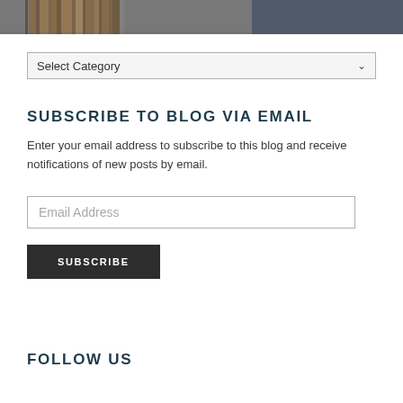[Figure (photo): Partial view of a wooden furniture piece (desk or table) against a gray/blue background, cropped at top of page]
Select Category
SUBSCRIBE TO BLOG VIA EMAIL
Enter your email address to subscribe to this blog and receive notifications of new posts by email.
Email Address
SUBSCRIBE
FOLLOW US